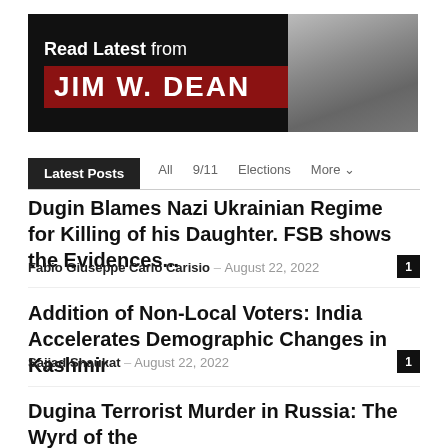[Figure (banner): Read Latest from Jim W. Dean banner with photo of a man in grayscale on right side]
Latest Posts  All  9/11  Elections  More
Dugin Blames Nazi Ukrainian Regime for Killing of his Daughter. FSB shows the Evidences...
Fabio Giuseppe Carlo Carisio - August 22, 2022  [1 comment]
Addition of Non-Local Voters: India Accelerates Demographic Changes in Kashmir
Sajjad Shaukat - August 22, 2022  [1 comment]
Dugina Terrorist Murder in Russia: The Wyrd of the